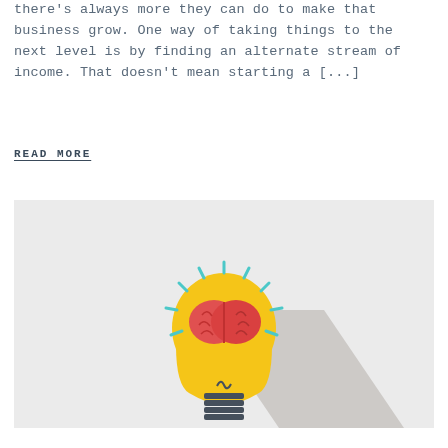there's always more they can do to make that business grow. One way of taking things to the next level is by finding an alternate stream of income. That doesn't mean starting a [...]
READ MORE
[Figure (illustration): A flat design icon of a lightbulb with a brain inside it and radiating lines suggesting ideas, casting a long diagonal shadow on a light grey background. The bulb is yellow, the brain is red/pink, the base is dark grey-blue.]